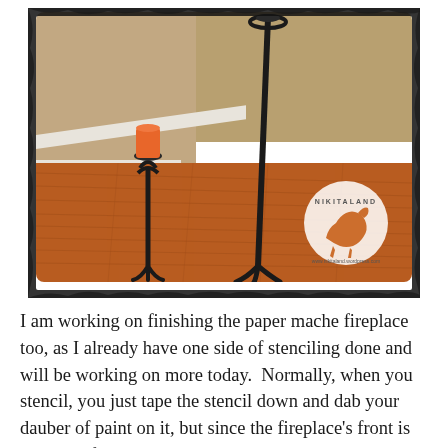[Figure (photo): Photo of two black wrought-iron candle holders/stands on a hardwood floor in a corner of a room with white baseboard trim and tan walls. An orange candle sits on top of the shorter stand. A Nikitaland watermark logo (white circle with dog silhouette) is visible in the lower right of the photo. The photo has a dark, rough torn-edge border effect.]
I am working on finishing the paper mache fireplace too, as I already have one side of stenciling done and will be working on more today.  Normally, when you stencil, you just tape the stencil down and dab your dauber of paint on it, but since the fireplace's front is not quite flat, I used my silver Sharpie marker and am drawing the stencil on first, then hand painting the white zig zag on the fireplace.  I